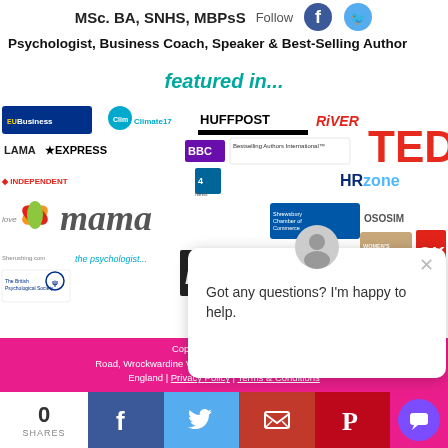MSc. BA, SNHS, MBPsS
Psychologist, Business Coach, Speaker & Best-Selling Author
featured in...
[Figure (logo): Collage of media logos: EU Business, Climate17, HuffPost, RiVER, TEDx, LAMA, Express, BBC, Bestselling Authors International, Independent, Channel 4 News, HRzone, Love, Mama, Shrewsbury Chamber of Commerce, OSOSIM, Women's, OK!, the psychologist, Ideapod, British Psychological Society]
Got any questions? I'm happy to help.
Copyright © 2018-2020 - Road, Wrockwardine Wood, TELFORD, Shropshire, TF2 6JU England | Privacy Policy | Terms & Conditions
0 SHARES